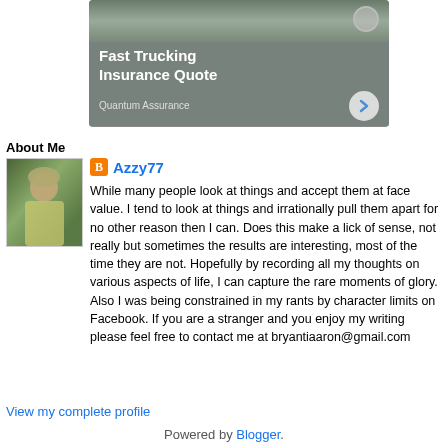[Figure (infographic): Advertisement banner for Fast Trucking Insurance Quote by Quantum Assurance with grey background and arrow button]
About Me
[Figure (photo): Profile photo of a person wearing a helmet and yellow-green vest outdoors]
Azzy77
While many people look at things and accept them at face value. I tend to look at things and irrationally pull them apart for no other reason then I can. Does this make a lick of sense, not really but sometimes the results are interesting, most of the time they are not. Hopefully by recording all my thoughts on various aspects of life, I can capture the rare moments of glory. Also I was being constrained in my rants by character limits on Facebook. If you are a stranger and you enjoy my writing please feel free to contact me at bryantiaaron@gmail.com
View my complete profile
Powered by Blogger.